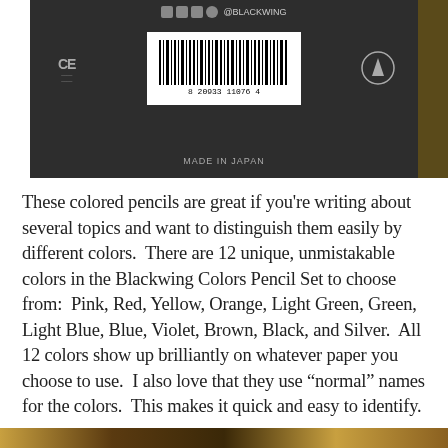[Figure (photo): Bottom of a Blackwing pencil box showing a barcode (8 20933 11076 4), CE mark, a circular logo, and text 'MADE IN JAPAN' on a dark background.]
These colored pencils are great if you're writing about several topics and want to distinguish them easily by different colors.  There are 12 unique, unmistakable colors in the Blackwing Colors Pencil Set to choose from:  Pink, Red, Yellow, Orange, Light Green, Green, Light Blue, Blue, Violet, Brown, Black, and Silver.  All 12 colors show up brilliantly on whatever paper you choose to use.  I also love that they use “normal” names for the colors.  This makes it quick and easy to identify.
[Figure (photo): Partial view of another image at the bottom of the page, showing what appears to be a golden/brown colored background with some objects.]